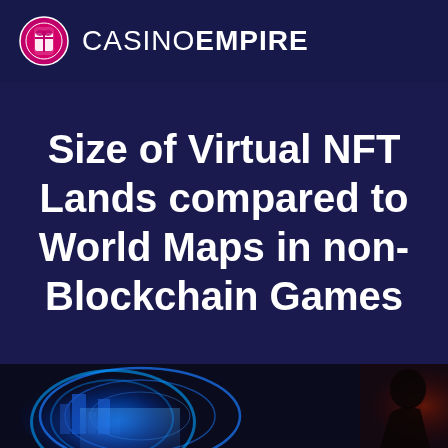CASINO EMPIRE
Size of Virtual NFT Lands compared to World Maps in non-Blockchain Games
[Figure (photo): Futuristic digital/blockchain themed image with glowing blue circular rings, a cityscape in the background, and a person silhouetted on the right side with red/orange lighting]